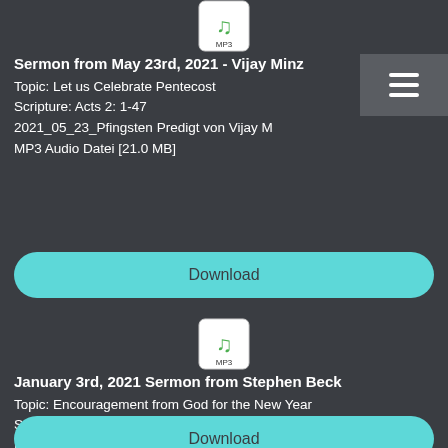[Figure (illustration): MP3 audio file icon with green music notes on white background with 'MP3' label, partially visible at top]
Sermon from May 23rd, 2021 - Vijay Minz
Topic: Let us Celebrate Pentecost
Scripture: Acts 2: 1-47
2021_05_23_Pfingsten Predigt von Vijay M
MP3 Audio Datei [21.0 MB]
[Figure (illustration): Hamburger menu icon (three horizontal lines) on dark grey background, top right]
Download
[Figure (illustration): MP3 audio file icon with green music notes on white background with 'MP3' label]
January 3rd, 2021 Sermon from Stephen Beck
Topic: Encouragement from God for the New Year
Sermon 2021_01_03.mp3
MP3 Audio Datei [23.9 MB]
Download